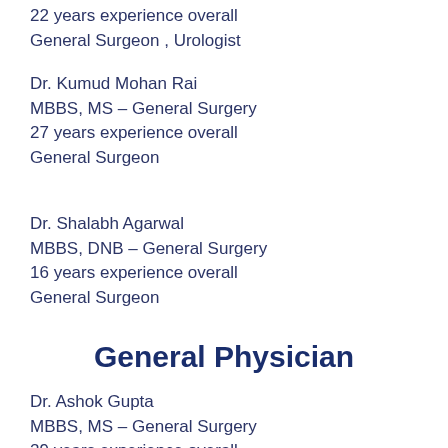22 years experience overall
General Surgeon , Urologist
Dr. Kumud Mohan Rai
MBBS, MS – General Surgery
27 years experience overall
General Surgeon
Dr. Shalabh Agarwal
MBBS, DNB – General Surgery
16 years experience overall
General Surgeon
General Physician
Dr. Ashok Gupta
MBBS, MS – General Surgery
29 years experience overall